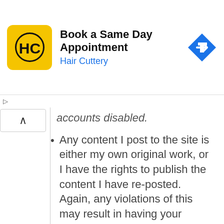[Figure (logo): Hair Cuttery advertisement banner with logo, 'Book a Same Day Appointment' text and navigation arrow icon]
accounts disabled.
Any content I post to the site is either my own original work, or I have the rights to publish the content I have re-posted. Again, any violations of this may result in having your content removed or having your account disabled.
I will not use this site to send out unwanted content to others (in other words, spam).
I understand that working here